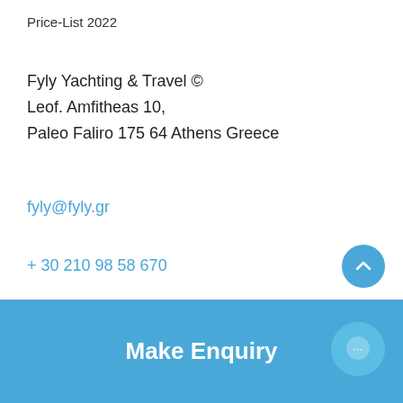Price-List 2022
Fyly Yachting & Travel ©
Leof. Amfitheas 10,
Paleo Faliro 175 64 Athens Greece
fyly@fyly.gr
+ 30 210 98 58 670
Subscribe to our Newsletter
Your Email
SUBSCRIBE
Follow us on social:
Make Enquiry